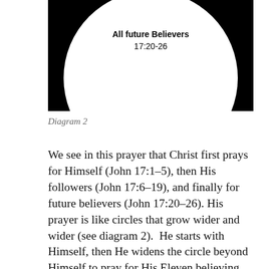[Figure (illustration): Diagram 2: A black background with a large white circle. Inside the circle near the top is bold text reading 'All future Believers' and below it '17:20-26'.]
Diagram 2
We see in this prayer that Christ first prays for Himself (John 17:1-5), then His followers (John 17:6-19), and finally for future believers (John 17:20-26). His prayer is like circles that grow wider and wider (see diagram 2).  He starts with Himself, then He widens the circle beyond Himself to pray for His Eleven believing disciples. Then He widens the circle a lot more by praying for all future believers that His disciples (and others) would reach. So He begins with His own need, then prays for the needs of the disciples, then He prays for the